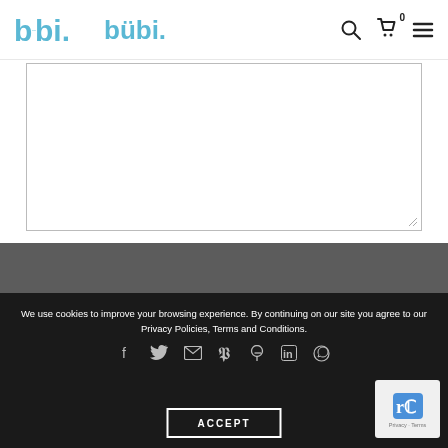bübi. [navigation icons: search, cart (0), menu]
[Figure (screenshot): Large textarea input box for message entry, with resize handle at bottom-right corner]
I accept Bübi's Terms, Conditions and Policies
SEND
We use cookies to improve your browsing experience. By continuing on our site you agree to our Privacy Policies, Terms and Conditions.
[Figure (infographic): Social media icons: Facebook, Twitter, Email, Pinterest, LinkedIn, WhatsApp]
ACCEPT
[Figure (screenshot): reCAPTCHA verification badge with logo and Privacy - Terms text]